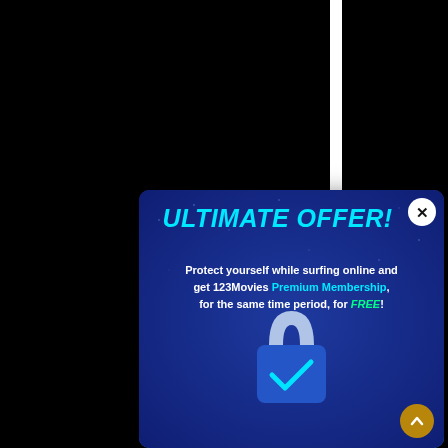[Figure (screenshot): Black background movie streaming website panels with white separator lines. Left panel shows partial movie title text 'Little Nemo Adv... Slumberl...' and an HD green badge. A promotional popup modal overlays the right side with dark blue gradient background.]
Little Nemo Adv
Slumberl
HD
ULTIMATE OFFER!
Protect yourself while surfing online and get 123Movies Premium Membership, for the same time period, for FREE!